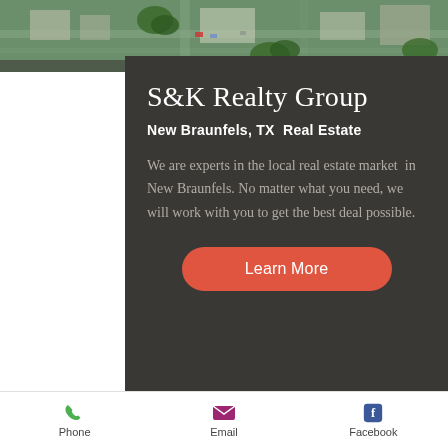[Figure (photo): Aerial view of New Braunfels TX downtown area, showing streets, trees, and buildings from above.]
S&K Realty Group
New Braunfels, TX  Real Estate
We are experts in the local real estate market  in New Braunfels. No matter what you need, we will work with you to get the best deal possible.
Learn More
Phone | Email | Facebook